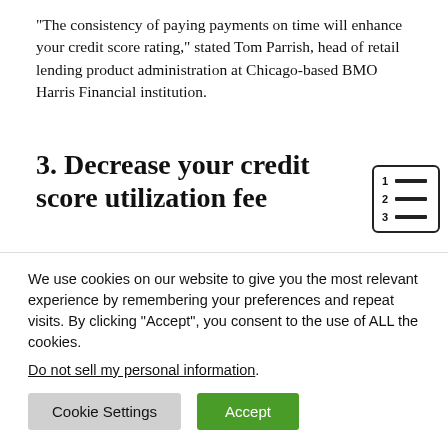“The consistency of paying payments on time will enhance your credit score rating,” stated Tom Parrish, head of retail lending product administration at Chicago-based BMO Harris Financial institution.
3. Decrease your credit score utilization fee
[Figure (other): Table of contents icon showing a numbered list with three rows (1, 2, 3) each followed by a horizontal line, enclosed in a rounded rectangle border.]
Lenders will have a look at whether or not you have
We use cookies on our website to give you the most relevant experience by remembering your preferences and repeat visits. By clicking “Accept”, you consent to the use of ALL the cookies.
Do not sell my personal information.